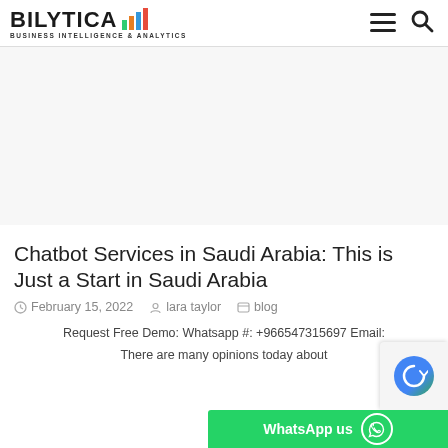BILYTICA BUSINESS INTELLIGENCE & ANALYTICS
[Figure (other): Advertisement banner area (blank/white)]
Chatbot Services in Saudi Arabia: This is Just a Start in Saudi Arabia
February 15, 2022  lara taylor  blog
Request Free Demo: Whatsapp #: +966547315697 Email:
There are many opinions today about